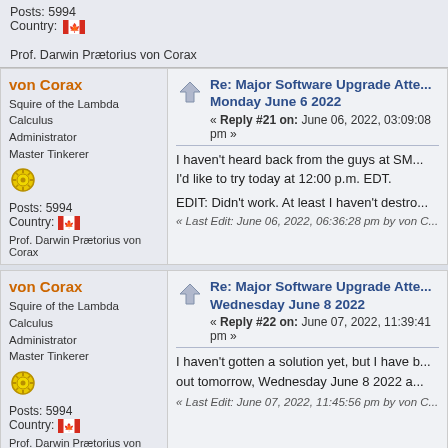Posts: 5994
Country: [Canada flag]
Prof. Darwin Prætorius von Corax
von Corax
Squire of the Lambda Calculus
Administrator
Master Tinkerer
Posts: 5994
Country: [Canada flag]
Prof. Darwin Prætorius von Corax
Re: Major Software Upgrade Atte... Monday June 6 2022
« Reply #21 on: June 06, 2022, 03:09:08 pm »
I haven't heard back from the guys at SM... I'd like to try today at 12:00 p.m. EDT.
EDIT: Didn't work. At least I haven't destro...
« Last Edit: June 06, 2022, 06:36:28 pm by von C...
von Corax
Squire of the Lambda Calculus
Administrator
Master Tinkerer
Posts: 5994
Country: [Canada flag]
Prof. Darwin Prætorius von Corax
Re: Major Software Upgrade Atte... Wednesday June 8 2022
« Reply #22 on: June 07, 2022, 11:39:41 pm »
I haven't gotten a solution yet, but I have b... out tomorrow, Wednesday June 8 2022 a...
« Last Edit: June 07, 2022, 11:45:56 pm by von C...
von Corax
Re: Major Software Upgrade Co...